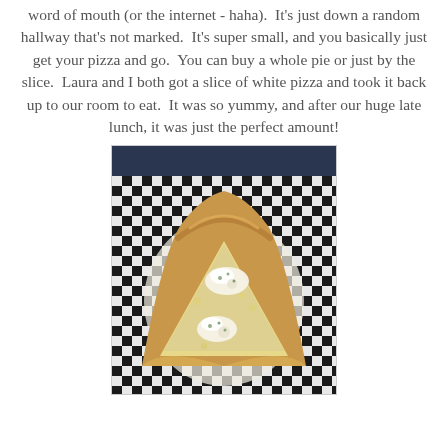word of mouth (or the internet - haha).  It's just down a random hallway that's not marked.  It's super small, and you basically just get your pizza and go.  You can buy a whole pie or just by the slice.  Laura and I both got a slice of white pizza and took it back up to our room to eat.  It was so yummy, and after our huge late lunch, it was just the perfect amount!
[Figure (photo): A slice of white pizza with ricotta cheese on a black and white checkered paper/surface, with a dark navy background visible at the top.]